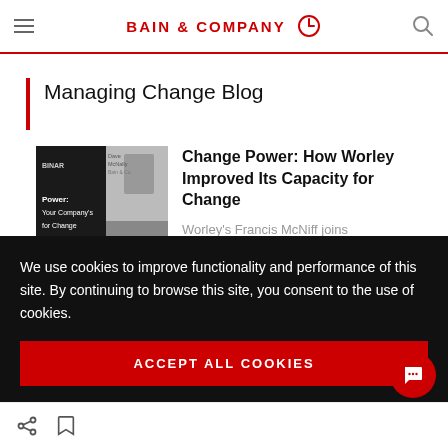BAIN & COMPANY
Managing Change Blog
[Figure (screenshot): Thumbnail image of a webinar with title 'Power: Your Company's for Change' and Bain & Co. branding, with a presenter visible]
Change Power: How Worley Improved Its Capacity for Change
Worley's Francis McNiff joins
We use cookies to improve functionality and performance of this site. By continuing to browse this site, you consent to the use of cookies.
ACCEPT ALL COOKIES